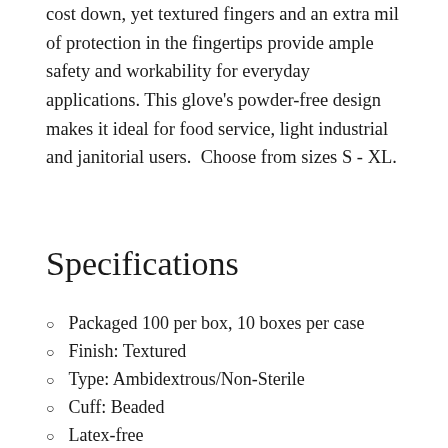cost down, yet textured fingers and an extra mil of protection in the fingertips provide ample safety and workability for everyday applications. This glove's powder-free design makes it ideal for food service, light industrial and janitorial users.  Choose from sizes S - XL.
Specifications
Packaged 100 per box, 10 boxes per case
Finish: Textured
Type: Ambidextrous/Non-Sterile
Cuff: Beaded
Latex-free
Powder-free
Superb tensile strength
Economical protection